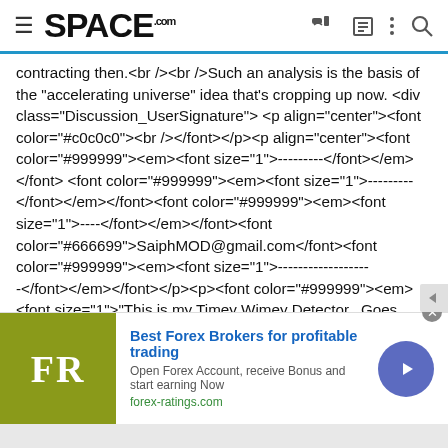SPACE.com
contracting then.<br /><br />Such an analysis is the basis of the "accelerating universe" idea that's cropping up now. <div class="Discussion_UserSignature"> <p align="center"><font color="#c0c0c0"><br /></font></p><p align="center"><font color="#999999"><em><font size="1">---------</font></em></font> <font color="#999999"><em><font size="1">---------</font></em></font><font color="#999999"><em><font size="1">----</font></em></font><font color="#666699">SaiphMOD@gmail.com</font><font color="#999999"><em><font size="1">------------------</font></em></font></p><p><font color="#999999"><em><font size="1">"This is my Timey Wimey Detector.  Goes "bing" when there's stuff.  It also fries eggs at 30 paces, wether you want it to or not actually.  I've learned to stay away from hens: It's not pretty when they blow" -- </font></em></font><font size="1"
[Figure (infographic): Advertisement banner for forex-ratings.com - Best Forex Brokers for profitable trading. Features FR logo on olive/green background, text about opening Forex account and receiving bonus, with a purple circular arrow button.]